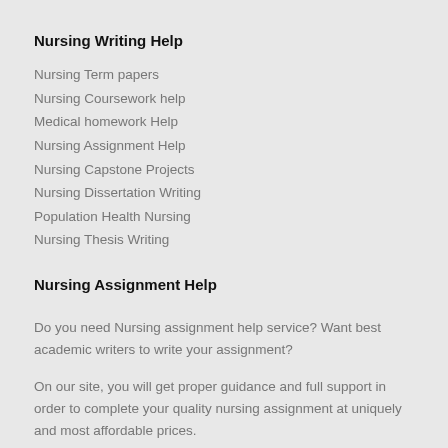Nursing Writing Help
Nursing Term papers
Nursing Coursework help
Medical homework Help
Nursing Assignment Help
Nursing Capstone Projects
Nursing Dissertation Writing
Population Health Nursing
Nursing Thesis Writing
Nursing Assignment Help
Do you need Nursing assignment help service? Want best academic writers to write your assignment?
On our site, you will get proper guidance and full support in order to complete your quality nursing assignment at uniquely and most affordable prices.
Recurring Order